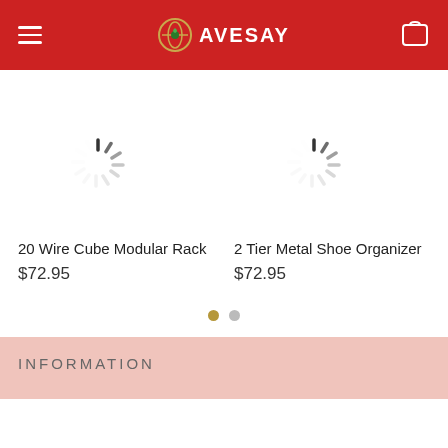AVESAY
[Figure (screenshot): Loading spinner icon for product image 1]
20 Wire Cube Modular Rack
$72.95
[Figure (screenshot): Loading spinner icon for product image 2]
2 Tier Metal Shoe Organizer
$72.95
INFORMATION